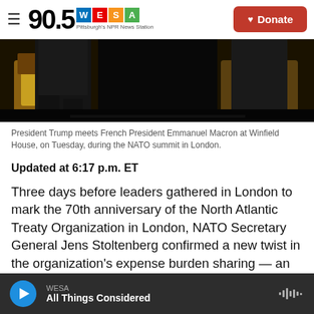90.5 WESA Pittsburgh's NPR News Station | Donate
[Figure (photo): President Trump meets French President Emmanuel Macron seated in ornate chairs, during a bilateral meeting at Winfield House during the NATO summit in London.]
President Trump meets French President Emmanuel Macron at Winfield House, on Tuesday, during the NATO summit in London.
Updated at 6:17 p.m. ET
Three days before leaders gathered in London to mark the 70th anniversary of the North Atlantic Treaty Organization in London, NATO Secretary General Jens Stoltenberg confirmed a new twist in the organization's expense burden sharing — an
WESA | All Things Considered